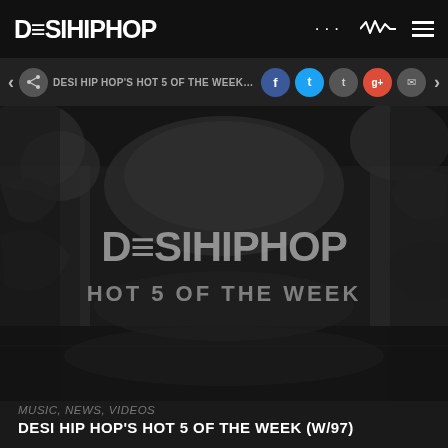DESIHIPHOP
DESI HIP HOP'S HOT 5 OF THE WEEK (W/98)
[Figure (photo): Dark atmospheric image of a room with graffiti-covered walls. Overlaid text reads 'DESIHIPHOP' and 'HOT 5 OF THE WEEK' in large grey letters.]
MUSIC, NEWS, VIDEOS
DESI HIP HOP'S HOT 5 OF THE WEEK (W/97)